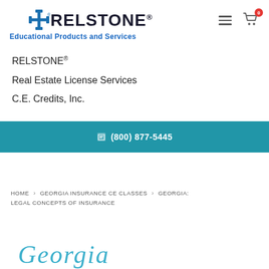[Figure (logo): RELSTONE logo with cross symbol and tagline 'Educational Products and Services']
RELSTONE®
Real Estate License Services
C.E. Credits, Inc.
(800) 877-5445
HOME > GEORGIA INSURANCE CE CLASSES > GEORGIA: LEGAL CONCEPTS OF INSURANCE
[Figure (illustration): Partial cursive Georgia text visible at bottom of page in teal/blue color]